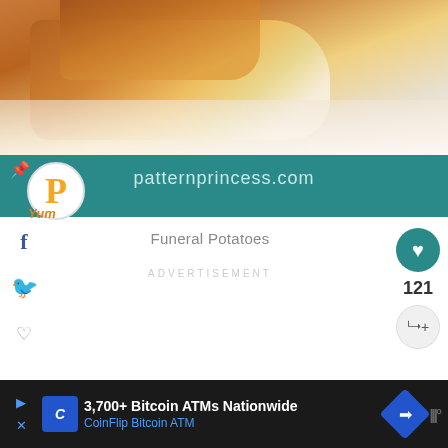[Figure (photo): Close-up food photo of Funeral Potatoes with golden-brown crispy top on a white plate, with teal banner overlay showing patternprincess.com and Pattern Princess logo]
Funeral Potatoes
ADVERTISEMENT
121
WHAT'S NEXT → Restaurant-Style Hash...
3,700+ Bitcoin ATMs Nationwide CoinFlip Bitcoin ATM